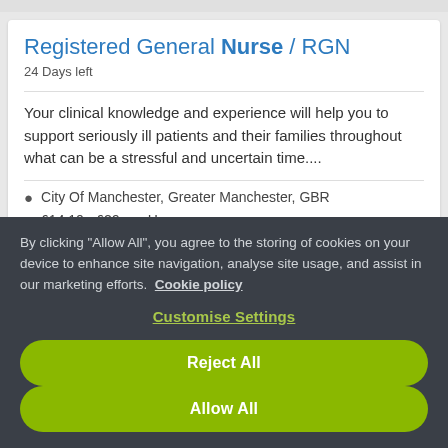Registered General Nurse / RGN
24 Days left
Your clinical knowledge and experience will help you to support seriously ill patients and their families throughout what can be a stressful and uncertain time....
City Of Manchester, Greater Manchester, GBR
£14.10 - £29 per Hour
By clicking "Allow All", you agree to the storing of cookies on your device to enhance site navigation, analyse site usage, and assist in our marketing efforts. Cookie policy
Customise Settings
Reject All
Allow All